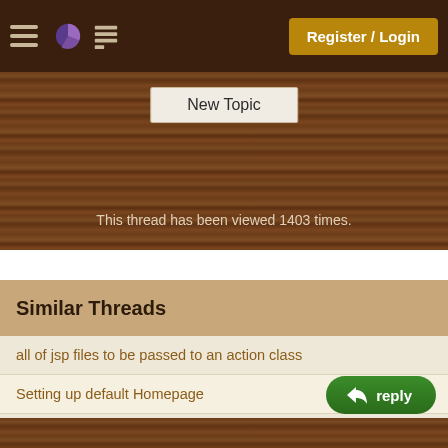Register / Login
New Topic
This thread has been viewed 1403 times.
Similar Threads
all of jsp files to be passed to an action class
Setting up default Homepage
alias for jsp file with weblogc workshop
How can I get to the root of the application.
mod_jk.c (3404): missing uri map
More...